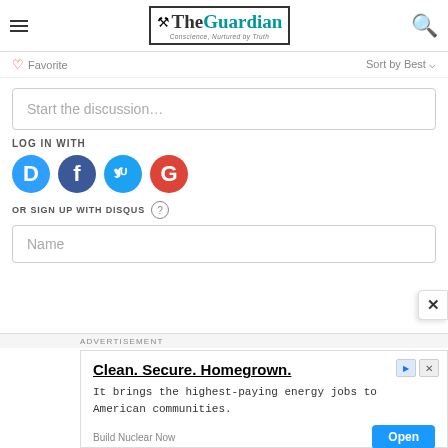The Guardian — Conscience, Nurtured by Truth
♡ Favorite    Sort by Best
Start the discussion…
LOG IN WITH
[Figure (other): Social login icons: Disqus (blue circle with D), Facebook (dark blue circle with f), Twitter (light blue circle with bird), Google (red circle with G)]
OR SIGN UP WITH DISQUS ?
Name
[Figure (other): Close button (X) overlay on right side]
ADVERTISEMENT
[Figure (other): Advertisement banner: Clean. Secure. Homegrown. It brings the highest-paying energy jobs to American communities. Build Nuclear Now. Open button.]